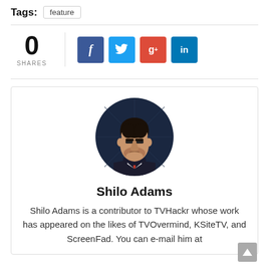Tags: feature
0 SHARES
[Figure (infographic): Social share buttons: Facebook (f), Twitter (bird icon), Google+ (g+), LinkedIn (in)]
[Figure (illustration): Cartoon/illustration avatar of Shilo Adams - a man in a dark suit with red tie, circular cropped portrait]
Shilo Adams
Shilo Adams is a contributor to TVHackr whose work has appeared on the likes of TVOvermind, KSiteTV, and ScreenFad. You can e-mail him at